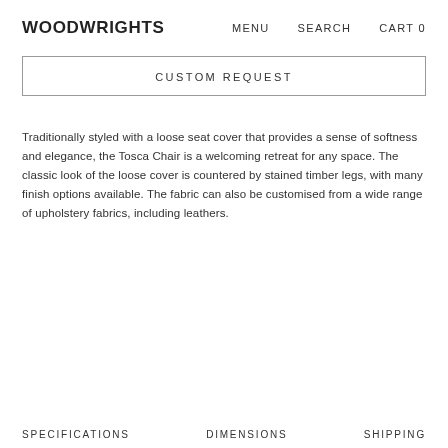WOODWRIGHTS   MENU   SEARCH   CART 0
CUSTOM REQUEST
Traditionally styled with a loose seat cover that provides a sense of softness and elegance, the Tosca Chair is a welcoming retreat for any space. The classic look of the loose cover is countered by stained timber legs, with many finish options available. The fabric can also be customised from a wide range of upholstery fabrics, including leathers.
SPECIFICATIONS   DIMENSIONS   SHIPPING